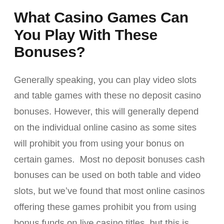What Casino Games Can You Play With These Bonuses?
Generally speaking, you can play video slots and table games with these no deposit casino bonuses. However, this will generally depend on the individual online casino as some sites will prohibit you from using your bonus on certain games.  Most no deposit bonuses cash bonuses can be used on both table and video slots, but we've found that most online casinos offering these games prohibit you from using bonus funds on live casino titles, but this is down to the individual online casino.